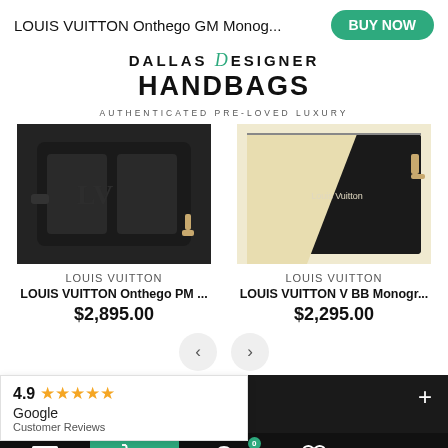LOUIS VUITTON Onthego GM Monog...
[Figure (logo): Dallas Designer Handbags logo with text DALLAS DESIGNER HANDBAGS AUTHENTICATED PRE-LOVED LUXURY]
[Figure (photo): Louis Vuitton black monogram embossed bag (Onthego PM) on white background]
LOUIS VUITTON
LOUIS VUITTON Onthego PM ...
$2,895.00
[Figure (photo): Louis Vuitton black and beige V BB monogram bag on white background]
LOUIS VUITTON
LOUIS VUITTON V BB Monogr...
$2,295.00
Follow Us
4.9 ★★★★★ Google Customer Reviews
Bottom navigation bar with menu, cart, basket, heart, and up arrow icons